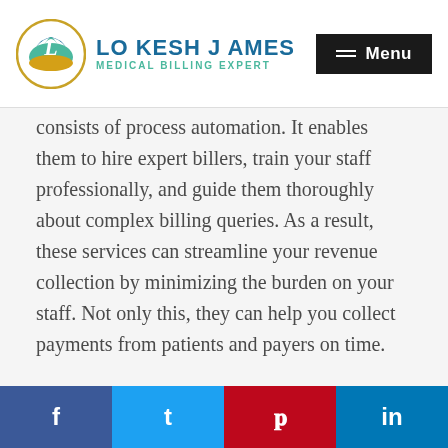LO KESH JAMES - MEDICAL BILLING EXPERT | Menu
consists of process automation. It enables them to hire expert billers, train your staff professionally, and guide them thoroughly about complex billing queries. As a result, these services can streamline your revenue collection by minimizing the burden on your staff. Not only this, they can help you collect payments from patients and payers on time.
3. Reduce Billing Errors
Another benefit that medical billing services can
f | t | p | in